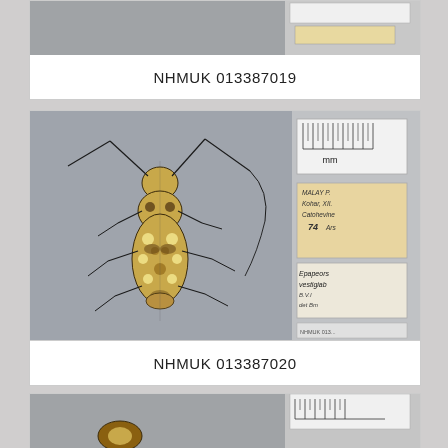[Figure (photo): Partial view of a pinned beetle specimen with collection labels, top of page cut off]
NHMUK 013387019
[Figure (photo): Pinned longhorn beetle specimen (Epapeors vestigiata) photographed from above on grey background, with handwritten collection labels and a ruler scale visible on the right side. Label reads: MALAY P., Kohar, XII, Catohevinc, 74, Ars, Epapeors vestigiab, B.V.I, det Bm. NHMUK 013...]
NHMUK 013387020
[Figure (photo): Partial view of another pinned beetle specimen at the bottom of the page, cut off]